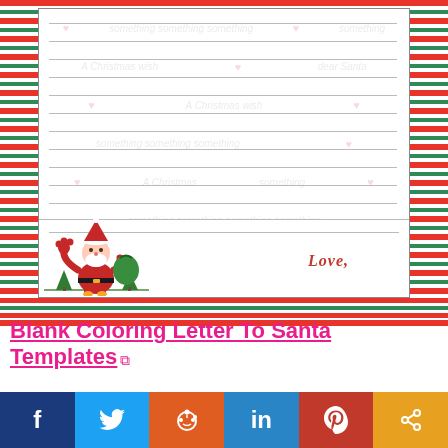[Figure (illustration): A blank 'Letter to Santa' template with red and green Christmas stripes as border, lined white paper interior with subtle watermark text, a cartoon Santa Claus figure in bottom-left holding a green gift bag, and 'Love,' written in red cursive on the bottom right.]
Blank Coloring Letter To Santa Templates
[Figure (infographic): Social media sharing buttons row: Facebook (dark blue, f), Twitter (light blue, bird), Reddit (orange, alien), LinkedIn (blue, in), Pinterest (red, P), Share (orange, <)]